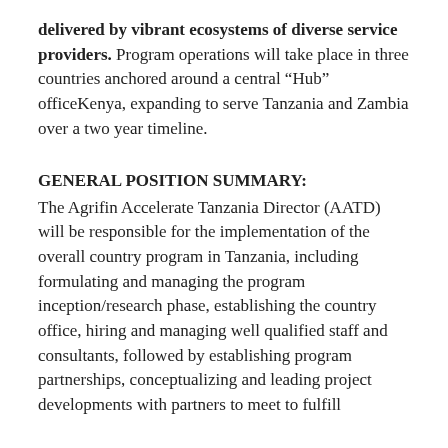delivered by vibrant ecosystems of diverse service providers. Program operations will take place in three countries anchored around a central “Hub” officeKenya, expanding to serve Tanzania and Zambia over a two year timeline.
GENERAL POSITION SUMMARY:
The Agrifin Accelerate Tanzania Director (AATD) will be responsible for the implementation of the overall country program in Tanzania, including formulating and managing the program inception/research phase, establishing the country office, hiring and managing well qualified staff and consultants, followed by establishing program partnerships, conceptualizing and leading project developments with partners to meet to fulfill